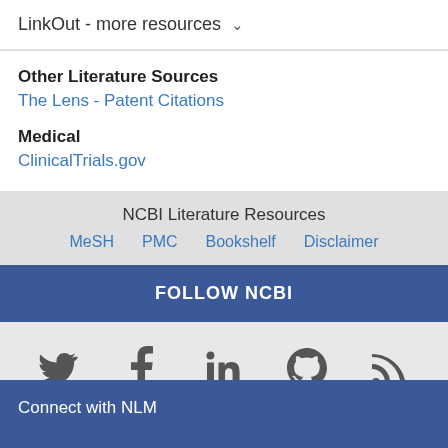LinkOut - more resources ∨
Other Literature Sources
The Lens - Patent Citations
Medical
ClinicalTrials.gov
NCBI Literature Resources
MeSH  PMC  Bookshelf  Disclaimer
FOLLOW NCBI
[Figure (infographic): Social media icons: Twitter, Facebook, LinkedIn, GitHub, RSS feed]
Connect with NLM